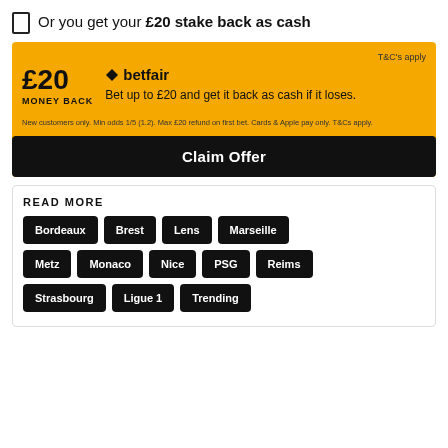Or you get your £20 stake back as cash
[Figure (infographic): Betfair £20 Money Back promotional card with yellow background. Shows £20 MONEY BACK offer, Betfair logo with diamond icon, text 'Bet up to £20 and get it back as cash if it loses.', T&C's apply note, fine print about new customers only, and a black Claim Offer button.]
READ MORE
Bordeaux
Brest
Lens
Marseille
Metz
Monaco
Nice
PSG
Reims
Strasbourg
Ligue 1
Trending